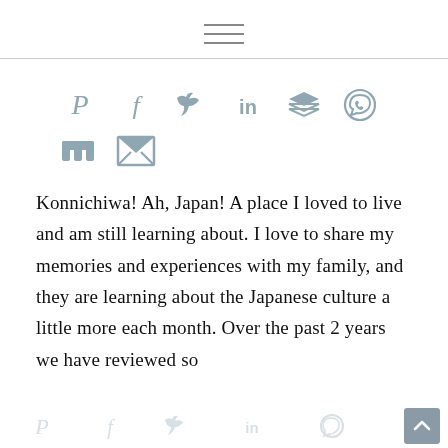[Figure (other): Hamburger menu icon (three horizontal lines) centered at top of page]
[Figure (infographic): Social sharing icons row 1: Pinterest (P), Facebook (f), Twitter (bird), LinkedIn (in), Buffer (layers), WhatsApp (phone); row 2: Mix (m), Email (envelope)]
Konnichiwa!  Ah, Japan!  A place I loved to live and am still learning about.  I love to share my memories and experiences with my family, and they are learning about the Japanese culture a little more each month.  Over the past 2 years we have reviewed so